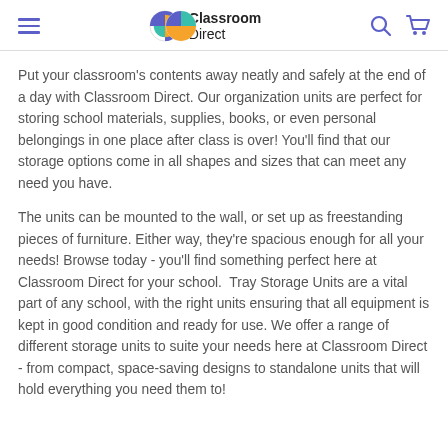Classroom Direct
Put your classroom's contents away neatly and safely at the end of a day with Classroom Direct. Our organization units are perfect for storing school materials, supplies, books, or even personal belongings in one place after class is over! You'll find that our storage options come in all shapes and sizes that can meet any need you have.
The units can be mounted to the wall, or set up as freestanding pieces of furniture. Either way, they're spacious enough for all your needs! Browse today - you'll find something perfect here at Classroom Direct for your school.  Tray Storage Units are a vital part of any school, with the right units ensuring that all equipment is kept in good condition and ready for use. We offer a range of different storage units to suite your needs here at Classroom Direct - from compact, space-saving designs to standalone units that will hold everything you need them to!